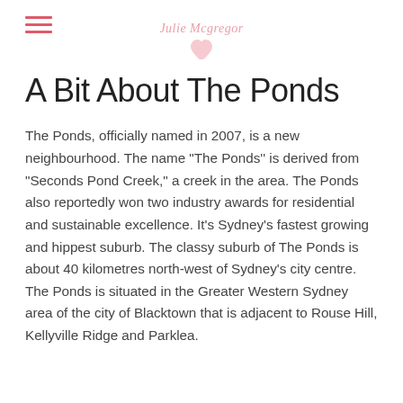Julie Mcgregor Photography
A Bit About The Ponds
The Ponds, officially named in 2007, is a new neighbourhood. The name "The Ponds" is derived from "Seconds Pond Creek," a creek in the area. The Ponds also reportedly won two industry awards for residential and sustainable excellence. It's Sydney's fastest growing and hippest suburb. The classy suburb of The Ponds is about 40 kilometres north-west of Sydney's city centre. The Ponds is situated in the Greater Western Sydney area of the city of Blacktown that is adjacent to Rouse Hill, Kellyville Ridge and Parklea.